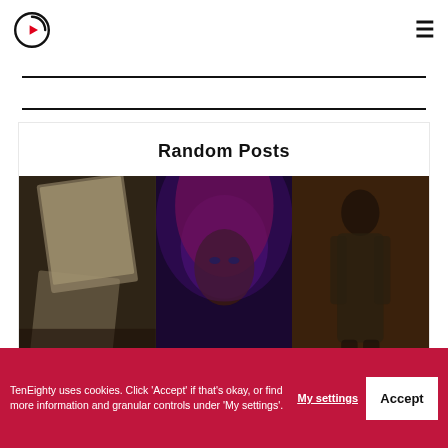TenEighty logo and hamburger menu
Random Posts
[Figure (photo): Three thumbnail images in a row showing: left - person with polaroid photos (31 DECEMBER 2016), center - close-up face of a person with purple/red hair, right - person in a dark outfit]
31 DECEMBER 2016
TenEighty uses cookies. Click 'Accept' if that's okay, or find more information and granular controls under 'My settings'.